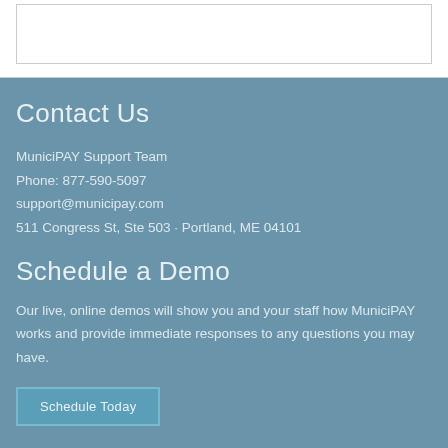Contact Us
MuniciPAY Support Team
Phone: 877-590-5097
support@municipay.com
511 Congress St, Ste 503 · Portland, ME 04101
Schedule a Demo
Our live, online demos will show you and your staff how MuniciPAY works and provide immediate responses to any questions you may have.
Schedule Today